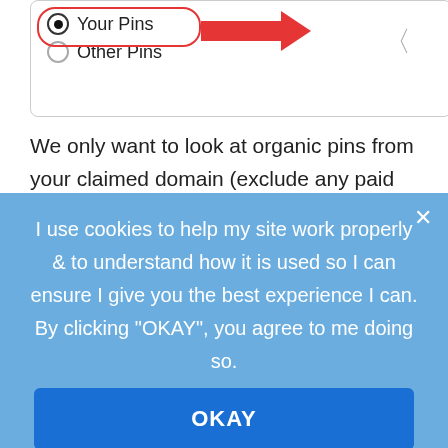[Figure (screenshot): Pinterest analytics UI showing radio button options 'Your Pins' (selected, circled in red with red arrow pointing to it) and 'Other Pins', with a back arrow on the right side.]
We only want to look at organic pins from your claimed domain (exclude any paid promotion if you've done any), and just the ones you've published (excluding
I use cookies to help my site work properly & to understand how it is used so I can ensure I give you the best experience I can. By clicking "OKAY", you agree to me doing so.
OKAY
PRIVACY POLICY & COOKIES